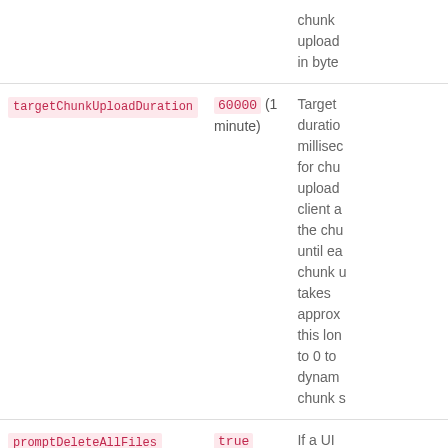| Property | Default | Description |
| --- | --- | --- |
| (partial row above) | upload...
in byte... |  |
| targetChunkUploadDuration | 60000 (1 minute) | Target duration milliseconds for chunk upload client a the chu until ea chunk t takes approx this lon to 0 to dynam chunk s |
| promptDeleteAllFiles | true | If a UI... |